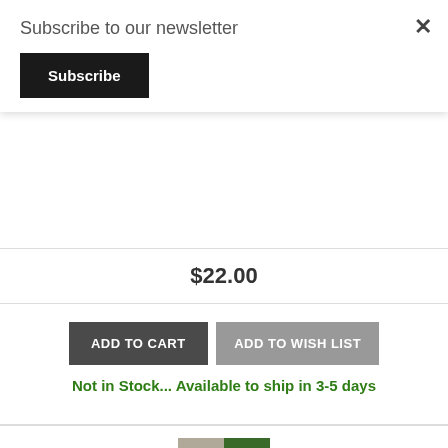Subscribe to our newsletter
Subscribe
$22.00
ADD TO CART
ADD TO WISH LIST
Not in Stock... Available to ship in 3-5 days
[Figure (photo): Book cover for 'A People's Guide to Orange County' featuring a collage of historical black-and-white photo, a train, the title text on orange background, and a cityscape aerial view]